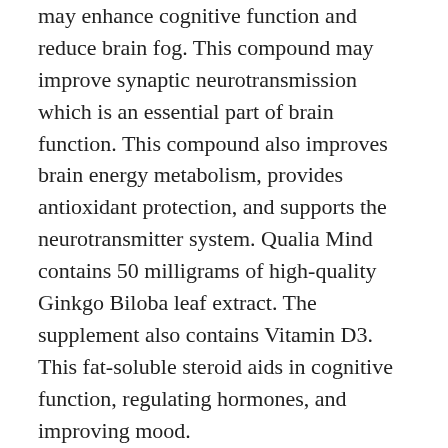may enhance cognitive function and reduce brain fog. This compound may improve synaptic neurotransmission which is an essential part of brain function. This compound also improves brain energy metabolism, provides antioxidant protection, and supports the neurotransmitter system. Qualia Mind contains 50 milligrams of high-quality Ginkgo Biloba leaf extract. The supplement also contains Vitamin D3. This fat-soluble steroid aids in cognitive function, regulating hormones, and improving mood.
While many users report no adverse side effects from taking Qualia Mind, some people have experienced nausea or vomiting. Some users have reported headaches. However, this is likely due to the fact that the supplement boosts neurotransmitters that control brain activity. If